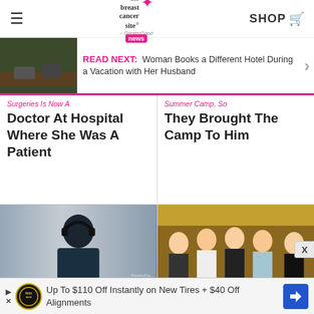the breast cancer site news | SHOP
[Figure (screenshot): Read next banner with image of hands on a log, text: READ NEXT: Woman Books a Different Hotel During a Vacation with Her Husband]
READ NEXT: Woman Books a Different Hotel During a Vacation with Her Husband
Surgeries Is Now A Doctor At Hospital Where She Was A Patient
Summer Camp, So They Brought The Camp To Him
[Figure (photo): Person seen from behind wearing headphones at a subway station]
Researchers Find
[Figure (photo): Group of young men (EXO) in a room looking excited]
EXO's Happy
Up To $110 Off Instantly on New Tires + $40 Off Alignments